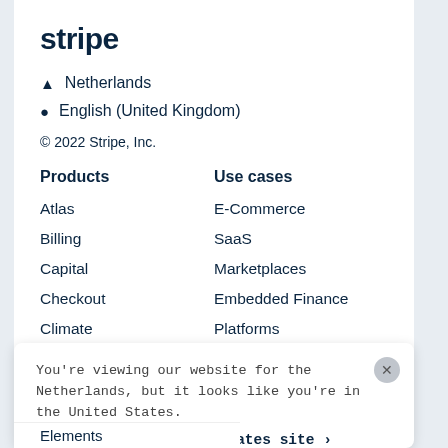stripe
Netherlands
English (United Kingdom)
© 2022 Stripe, Inc.
Products
Use cases
Atlas
E-Commerce
Billing
SaaS
Capital
Marketplaces
Checkout
Embedded Finance
Climate
Platforms
You're viewing our website for the Netherlands, but it looks like you're in the United States.
Switch to the United States site ›
Elements